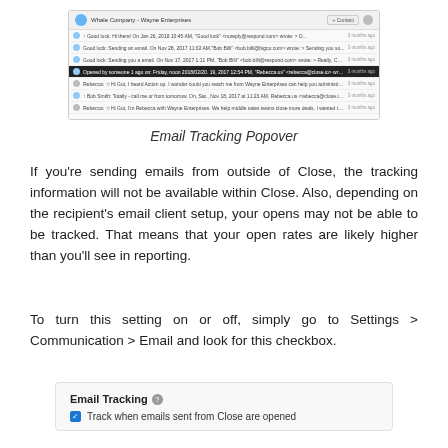[Figure (screenshot): Email Tracking Popover screenshot showing a Gmail-like inbox interface with a highlighted row containing a dark tooltip/popover showing open tracking information.]
Email Tracking Popover
If you're sending emails from outside of Close, the tracking information will not be available within Close. Also, depending on the recipient's email client setup, your opens may not be able to be tracked. That means that your open rates are likely higher than you'll see in reporting.
To turn this setting on or off, simply go to Settings > Communication > Email and look for this checkbox.
[Figure (screenshot): Email Tracking settings panel showing a checkbox labeled 'Track when emails sent from Close are opened' with a help icon next to the 'Email Tracking' title.]